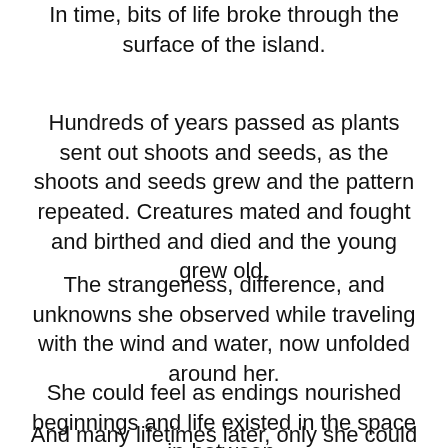In time, bits of life broke through the surface of the island.
Hundreds of years passed as plants sent out shoots and seeds, as the shoots and seeds grew and the pattern repeated. Creatures mated and fought and birthed and died and the young grew old.
The strangeness, difference, and unknowns she observed while traveling with the wind and water, now unfolded around her.
She could feel as endings nourished beginnings and life existed in the space in-between.
And many lifetimes later, only she could